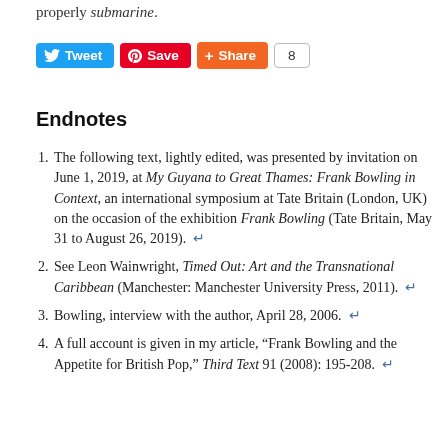properly submarine.
[Figure (other): Social sharing buttons: Tweet (Twitter), Save (Pinterest), Share (Google+/Plus), and share count badge showing 8]
Endnotes
The following text, lightly edited, was presented by invitation on June 1, 2019, at My Guyana to Great Thames: Frank Bowling in Context, an international symposium at Tate Britain (London, UK) on the occasion of the exhibition Frank Bowling (Tate Britain, May 31 to August 26, 2019). ↵
See Leon Wainwright, Timed Out: Art and the Transnational Caribbean (Manchester: Manchester University Press, 2011). ↵
Bowling, interview with the author, April 28, 2006. ↵
A full account is given in my article, "Frank Bowling and the Appetite for British Pop," Third Text 91 (2008): 195-208. ↵